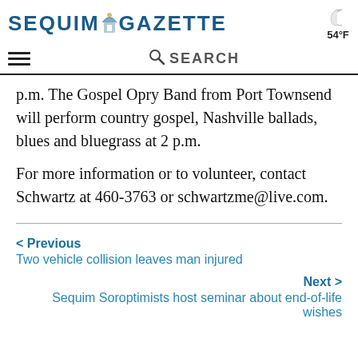SEQUIM GAZETTE | 54°F
p.m. The Gospel Opry Band from Port Townsend will perform country gospel, Nashville ballads, blues and bluegrass at 2 p.m.
For more information or to volunteer, contact Schwartz at 460-3763 or schwartzme@live.com.
< Previous
Two vehicle collision leaves man injured
Next >
Sequim Soroptimists host seminar about end-of-life wishes